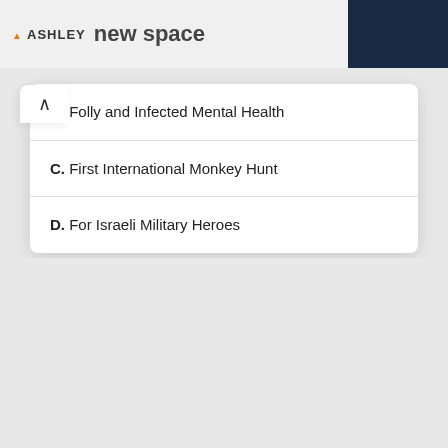[Figure (screenshot): Ashley furniture advertisement banner showing logo, 'new space' text, shop now button, and a dark blue couch on the right side]
B. Folly and Infected Mental Health
C. First International Monkey Hunt
D. For Israeli Military Heroes